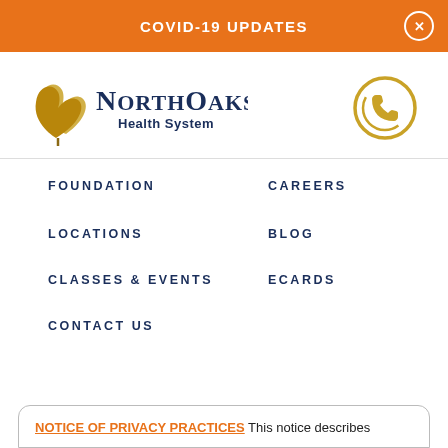COVID-19 UPDATES
[Figure (logo): North Oaks Health System logo with oak leaf and phone icon]
FOUNDATION
CAREERS
LOCATIONS
BLOG
CLASSES & EVENTS
ECARDS
CONTACT US
NOTICE OF PRIVACY PRACTICES This notice describes